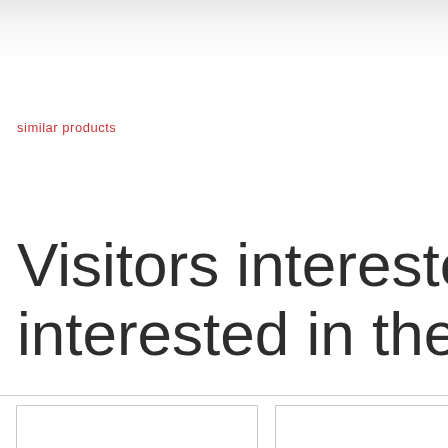similar products
Visitors interested in this interested in the following